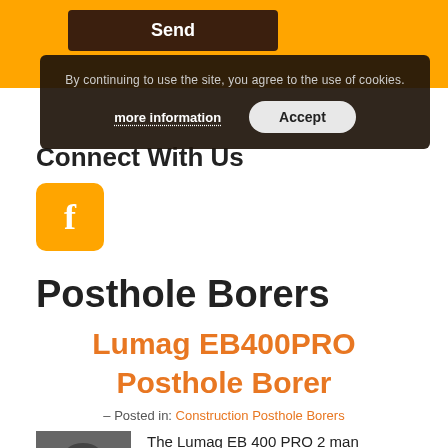[Figure (screenshot): Orange background with dark brown Send button]
By continuing to use the site, you agree to the use of cookies.
more information
Accept
Connect With Us
[Figure (logo): Facebook icon - orange square with white f]
Posthole Borers
Lumag EB400PRO Posthole Borer
– Posted in: Construction Posthole Borers
[Figure (photo): Posthole borer machine product image]
The Lumag EB 400 PRO 2 man